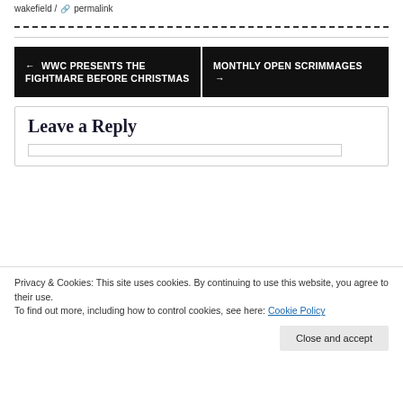wakefield / permalink
← WWC PRESENTS THE FIGHTMARE BEFORE CHRISTMAS
MONTHLY OPEN SCRIMMAGES →
Leave a Reply
Privacy & Cookies: This site uses cookies. By continuing to use this website, you agree to their use.
To find out more, including how to control cookies, see here: Cookie Policy
Close and accept